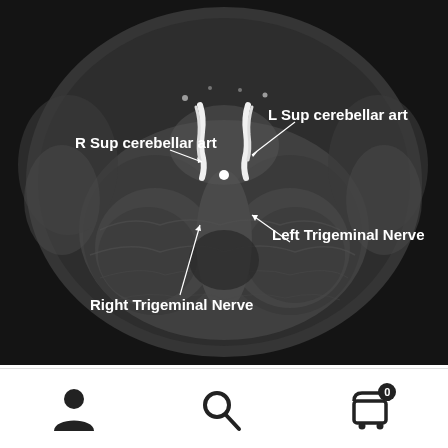[Figure (photo): Axial MRI brain scan (black and white) showing the cerebellum and brainstem region with labeled anatomical structures: R Sup cerebellar art (right superior cerebellar artery) with arrow, L Sup cerebellar art (left superior cerebellar artery) with arrow, Left Trigeminal Nerve with arrow, and Right Trigeminal Nerve with arrow. Bright white areas indicate vascular structures.]
[Figure (other): Mobile app navigation toolbar with three icons: user/person icon on the left, magnifying glass/search icon in the center, and shopping cart icon with badge showing '0' on the right.]